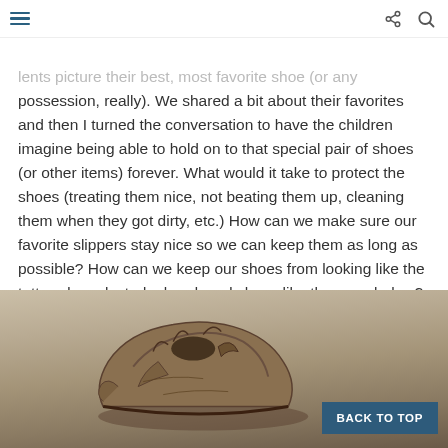Navigation bar with hamburger menu, share, and search icons
Finally, we talked about caring for our shoes. I had students picture their best, most favorite shoe (or any possession, really). We shared a bit about their favorites and then I turned the conversation to have the children imagine being able to hold on to that special pair of shoes (or other items) forever. What would it take to protect the shoes (treating them nice, not beating them up, cleaning them when they got dirty, etc.) How can we make sure our favorite slippers stay nice so we can keep them as long as possible? How can we keep our shoes from looking like the tattered, neglected, abandoned shoes like the ones below?
[Figure (photo): A worn, tattered, and falling-apart old shoe lying on a sandy/concrete surface, shown as an example of neglected footwear.]